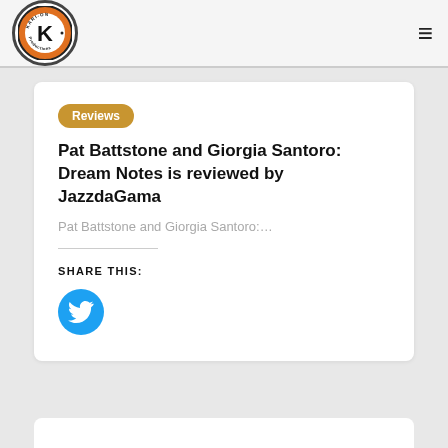[Figure (logo): Kari-On Productions circular logo with orange background and stylized K letter]
≡
Reviews
Pat Battstone and Giorgia Santoro: Dream Notes is reviewed by JazzdaGama
Pat Battstone and Giorgia Santoro:…
SHARE THIS:
[Figure (illustration): Twitter bird icon in white on blue circle button]